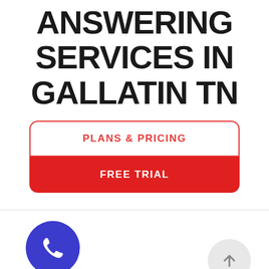ANSWERING SERVICES IN GALLATIN TN
PLANS & PRICING
FREE TRIAL
[Figure (illustration): Dark blue circle with white phone/handset icon, labeled NAVIGATION below]
[Figure (illustration): Light gray circle with upward arrow icon (scroll to top button)]